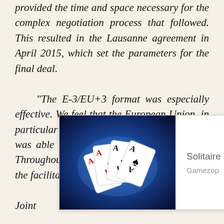provided the time and space necessary for the complex negotiation process that followed. This resulted in the Lausanne agreement in April 2015, which set the parameters for the final deal. “The E-3/EU+3 format was especially effective. We feel that the European Union, in particular through the High Representative, was able to play a crucial facilitation role. Throughout the whole process, the EU was the facilitator, moderator and, in the final ... Joint ... Actio... hard to imagine another actor that
[Figure (other): Advertisement overlay showing a Solitaire card game ad (2022) from Gamezop via PurpleAds, with playing cards glowing on a blue background]